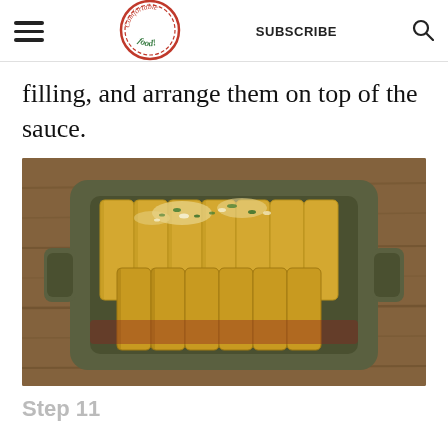Comfortable food! | SUBSCRIBE
filling, and arrange them on top of the sauce.
[Figure (photo): A rectangular dark olive/green baking dish filled with stuffed manicotti or cannelloni pasta tubes arranged vertically, topped with grated cheese and chopped herbs, placed on a wooden surface.]
Step 11